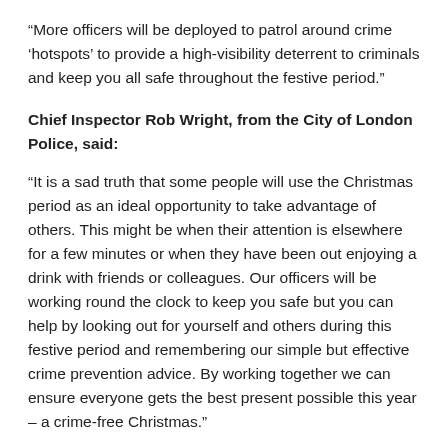“More officers will be deployed to patrol around crime ‘hotspots’ to provide a high-visibility deterrent to criminals and keep you all safe throughout the festive period.”
Chief Inspector Rob Wright, from the City of London Police, said:
“It is a sad truth that some people will use the Christmas period as an ideal opportunity to take advantage of others. This might be when their attention is elsewhere for a few minutes or when they have been out enjoying a drink with friends or colleagues. Our officers will be working round the clock to keep you safe but you can help by looking out for yourself and others during this festive period and remembering our simple but effective crime prevention advice. By working together we can ensure everyone gets the best present possible this year – a crime-free Christmas.”
Amy Lamé, Night Czar for London, said: